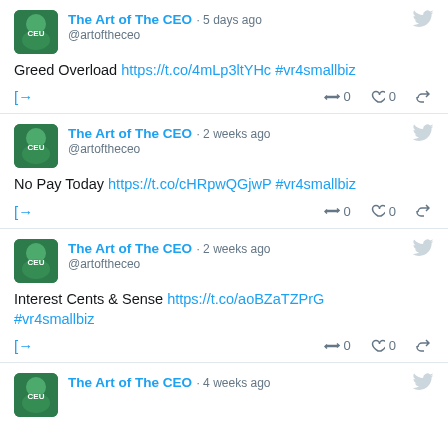The Art of The CEO · 5 days ago @artoftheceo
Greed Overload https://t.co/4mLp3ltYHc #vr4smallbiz
The Art of The CEO · 2 weeks ago @artoftheceo
No Pay Today https://t.co/cHRpwQGjwP #vr4smallbiz
The Art of The CEO · 2 weeks ago @artoftheceo
Interest Cents & Sense https://t.co/aoBZaTZPrG #vr4smallbiz
The Art of The CEO · 4 weeks ago